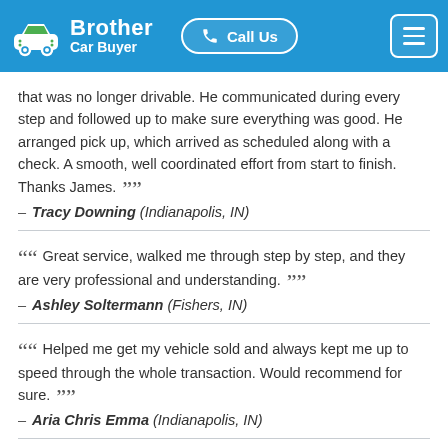Brother Car Buyer | Call Us
that was no longer drivable. He communicated during every step and followed up to make sure everything was good. He arranged pick up, which arrived as scheduled along with a check. A smooth, well coordinated effort from start to finish. Thanks James. ””
– Tracy Downing (Indianapolis, IN)
““ Great service, walked me through step by step, and they are very professional and understanding. ””
– Ashley Soltermann (Fishers, IN)
““ Helped me get my vehicle sold and always kept me up to speed through the whole transaction. Would recommend for sure. ””
– Aria Chris Emma (Indianapolis, IN)
““ I decided to sell my 2008 Dodge Caliber and the people I talked to were very professional and nice! I will consider them